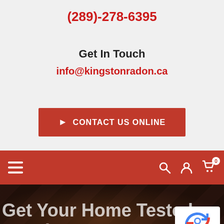(289)-278-6395
Get In Touch
info@kingstonradon.ca
CONTACT US ONLINE
[Figure (screenshot): Red navigation bar with hamburger menu on left, and search, user, and cart icons on right. Cart shows badge with 0.]
[Figure (photo): Hero image section with dark overlay showing a hand holding a device, with large white text reading 'Get Your Home Tested' and 'Radon' below. reCAPTCHA Privacy-Terms badge visible in bottom right corner.]